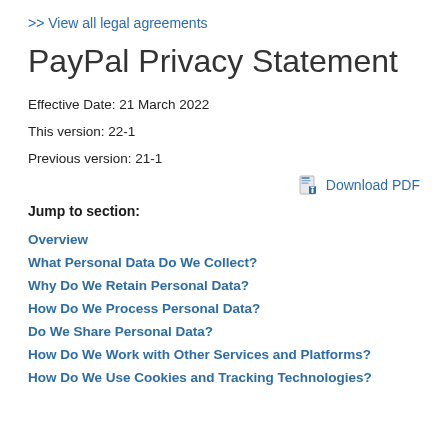>> View all legal agreements
PayPal Privacy Statement
Effective Date: 21 March 2022
This version: 22-1
Previous version: 21-1
Download PDF
Jump to section:
Overview
What Personal Data Do We Collect?
Why Do We Retain Personal Data?
How Do We Process Personal Data?
Do We Share Personal Data?
How Do We Work with Other Services and Platforms?
How Do We Use Cookies and Tracking Technologies?